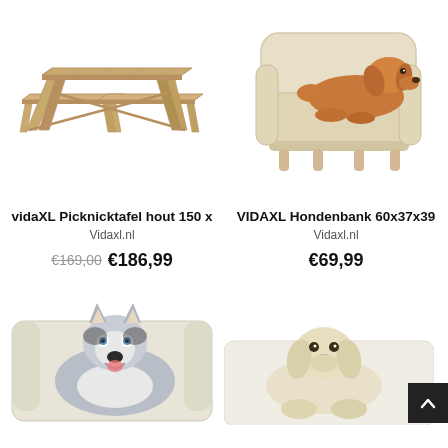[Figure (photo): Wooden picnic table with attached benches on white background]
[Figure (photo): Beige dog sofa/couch with golden cocker spaniel puppy lying on it, white background]
vidaXL Picknicktafel hout 150 x
Vidaxl.nl
€169,00  €186,99
VIDAXL Hondenbank 60x37x39
Vidaxl.nl
€69,99
[Figure (photo): Husky dog sitting in beige dog sofa, partially cropped at bottom of page]
[Figure (photo): White/cream Labrador puppy on white dog bed, partially cropped at bottom of page]